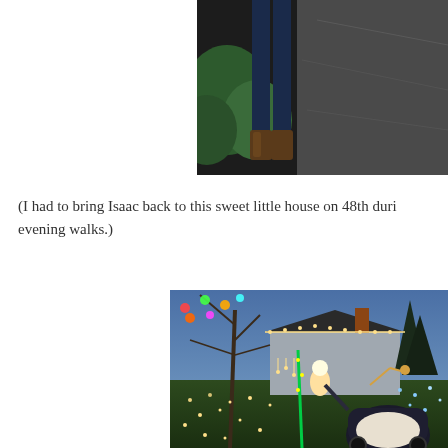[Figure (photo): Partial photo showing legs of a person standing on a sidewalk/driveway at night, with green bushes in the background and a concrete surface.]
(I had to bring Isaac back to this sweet little house on 48th duri evening walks.)
[Figure (photo): Photo of a house decorated with colorful Christmas lights and lawn decorations at dusk/evening. Trees and bushes are strung with multicolored and white lights. Decorative figures are on the lawn. A baby stroller with an infant is visible in the foreground right. Blue twilight sky is in the background.]